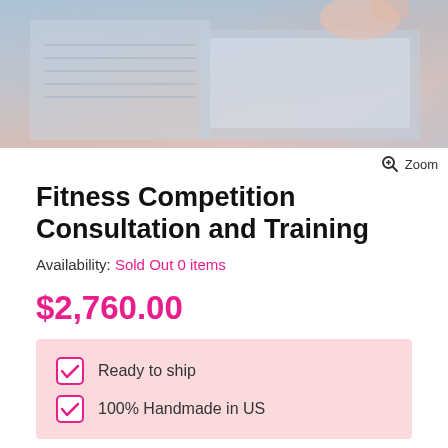[Figure (photo): A photo showing a person's hands near a notebook and laptop on a desk, with a pinkish-blue color wash.]
Zoom
Fitness Competition Consultation and Training
Availability: Sold Out 0 items
$2,760.00
Ready to ship
100% Handmade in US